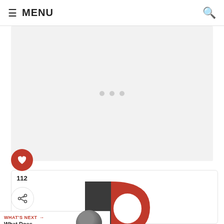MENU
[Figure (other): Gray advertisement placeholder area with three dots]
[Figure (logo): Large letter R logo split half dark gray and half red, website/brand logo]
112
WHAT'S NEXT → What Does The Bible Sa...